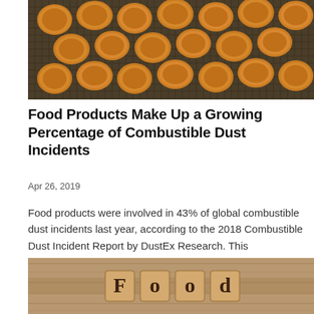[Figure (photo): Overhead view of golden-brown round food items (cookies or buns) arranged on a mesh/grill surface]
Food Products Make Up a Growing Percentage of Combustible Dust Incidents
Apr 26, 2019
Food products were involved in 43% of global combustible dust incidents last year, according to the 2018 Combustible Dust Incident Report by DustEx Research. This percentage is a significant gain from 2017, when food products were involved in only 32% of incidents....
[Figure (photo): Wooden letter tiles spelling 'Food' on a wooden plank background]